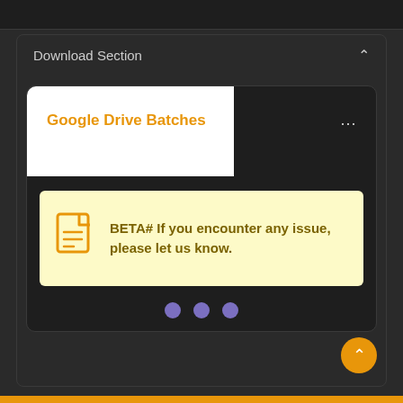Download Section
Google Drive Batches
BETA# If you encounter any issue, please let us know.